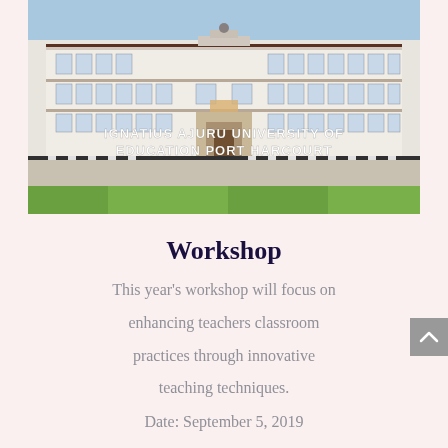[Figure (photo): Photograph of Ignatius Ajuru University of Education Port Harcourt building — a large white multi-storey academic building with brown/red brick accents, surrounded by grass and a paved courtyard. Text overlay reads 'IGNATIUS AJURU UNIVERSITY OF EDUCATION PORT HARCOURT'.]
Workshop
This year's workshop will focus on enhancing teachers classroom practices through innovative teaching techniques.
Date: September 5, 2019